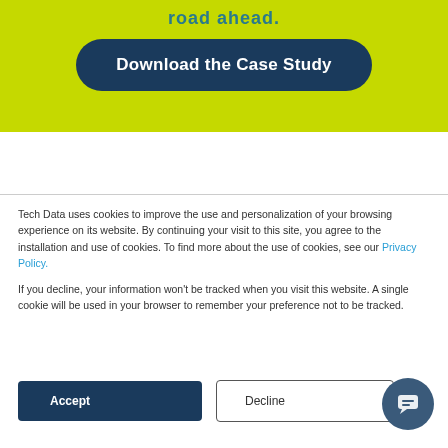road ahead.
Download the Case Study
Tech Data uses cookies to improve the use and personalization of your browsing experience on its website. By continuing your visit to this site, you agree to the installation and use of cookies. To find more about the use of cookies, see our Privacy Policy.
If you decline, your information won't be tracked when you visit this website. A single cookie will be used in your browser to remember your preference not to be tracked.
Accept
Decline